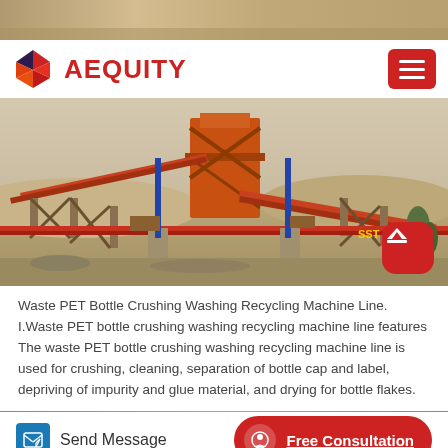[Figure (photo): Top strip photo of sandy/rocky terrain]
[Figure (logo): Aequity logo with geometric red/orange/purple diamond icon and red AEQUITY text]
[Figure (photo): Industrial crushing/washing recycling machine line with orange conveyor structures in a sandy outdoor setting]
Waste PET Bottle Crushing Washing Recycling Machine Line.
I.Waste PET bottle crushing washing recycling machine line features
The waste PET bottle crushing washing recycling machine line is used for crushing, cleaning, separation of bottle cap and label, depriving of impurity and glue material, and drying for bottle flakes.
Send Message   Free Consultation